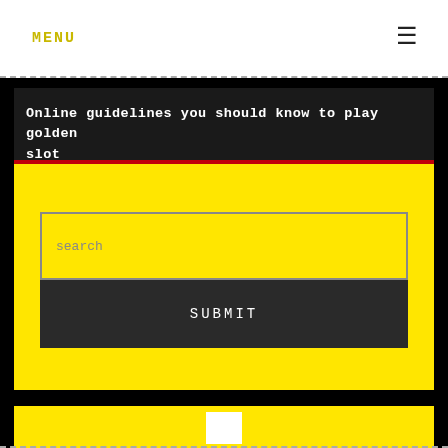MENU
Online guidelines you should know to play golden slot
[Figure (screenshot): Yellow search widget area with a search input field and a dark SUBMIT button on yellow background]
search
SUBMIT
[Figure (screenshot): Bottom portion showing a yellow rectangle area on black background, partially cut off at the bottom of the page]